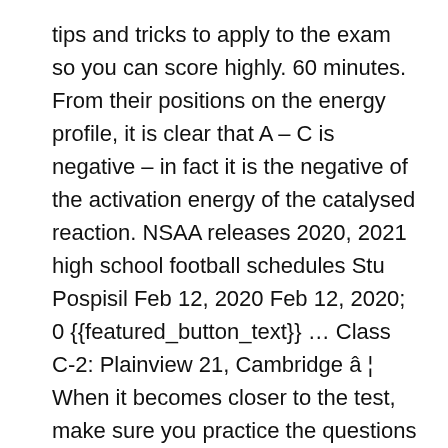tips and tricks to apply to the exam so you can score highly. 60 minutes. From their positions on the energy profile, it is clear that A – C is negative – in fact it is the negative of the activation energy of the catalysed reaction. NSAA releases 2020, 2021 high school football schedules Stu Pospisil Feb 12, 2020 Feb 12, 2020; 0 {{featured_button_text}} … Class C-2: Plainview 21, Cambridge â ¦ When it becomes closer to the test, make sure you practice the questions under exam conditions. Cambridge NSAA Past Papers >> 2020 NSAA Preparation Resources Natural Sciences at Cambridge. Cambridge NSAA Past Papers >> 2020 Page 9/24. Natural Sciences (NST) is the framework within which most science subjects are taught at Cambridge. Click the video